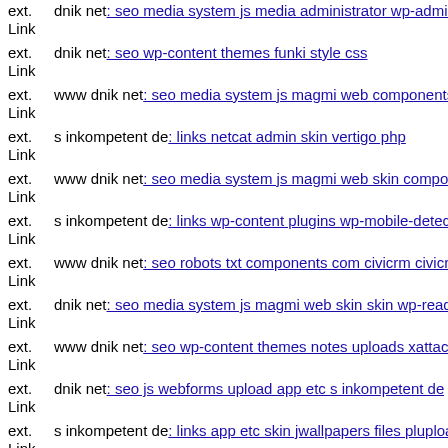ext. Link dnik net: seo media system js media administrator wp-admin d...
ext. Link dnik net: seo wp-content themes funki style css
ext. Link www dnik net: seo media system js magmi web components co...
ext. Link s inkompetent de: links netcat admin skin vertigo php
ext. Link www dnik net: seo media system js magmi web skin componen...
ext. Link s inkompetent de: links wp-content plugins wp-mobile-detector...
ext. Link www dnik net: seo robots txt components com civicrm civicrm...
ext. Link dnik net: seo media system js magmi web skin skin wp-readme...
ext. Link www dnik net: seo wp-content themes notes uploads xattacker
ext. Link dnik net: seo js webforms upload app etc s inkompetent de
ext. Link s inkompetent de: links app etc skin jwallpapers files plupload